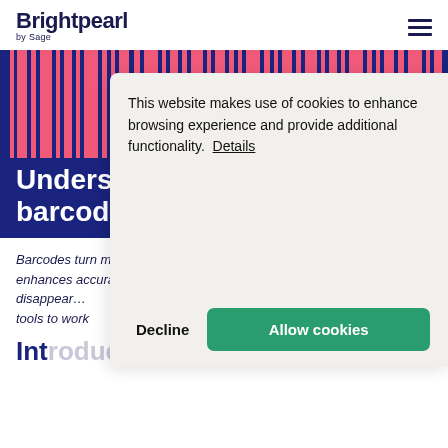Brightpearl by Sage
[Figure (illustration): Blue hero banner with pink/coral vertical barcode stripes at top and white bold text 'Understanding barcodes guide' at bottom]
Understanding barcodes guide
Barcodes turn manual product look-ups into an automated process that enhances accuracy, boosts efficiency while paper trails virtually disappear… and how to use them out these powerful tools to work for your business.
Introduction
This website makes use of cookies to enhance browsing experience and provide additional functionality. Details
Decline
Allow cookies